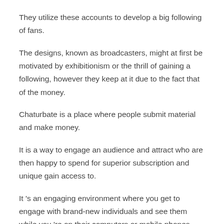They utilize these accounts to develop a big following of fans.
The designs, known as broadcasters, might at first be motivated by exhibitionism or the thrill of gaining a following, however they keep at it due to the fact that of the money.
Chaturbate is a place where people submit material and make money.
It is a way to engage an audience and attract who are then happy to spend for superior subscription and unique gain access to.
It 's an engaging environment where you get to engage with brand-new individuals and see them while you 're on their computers or mobile phones.
For numerous designs, it 's a job and as such, they 're more like strippers at a strip club or models in a shiny publication who